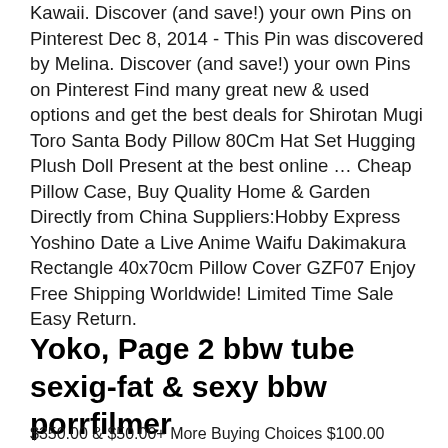Kawaii. Discover (and save!) your own Pins on Pinterest Dec 8, 2014 - This Pin was discovered by Melina. Discover (and save!) your own Pins on Pinterest Find many great new & used options and get the best deals for Shirotan Mugi Toro Santa Body Pillow 80Cm Hat Set Hugging Plush Doll Present at the best online … Cheap Pillow Case, Buy Quality Home & Garden Directly from China Suppliers:Hobby Express Yoshino Date a Live Anime Waifu Dakimakura Rectangle 40x70cm Pillow Cover GZF07 Enjoy Free Shipping Worldwide! Limited Time Sale Easy Return.
Yoko, Page 2 bbw tube sexig-fat & sexy bbw porrfilmer
$350.00 & $50.00+ More Buying Choices $100.00